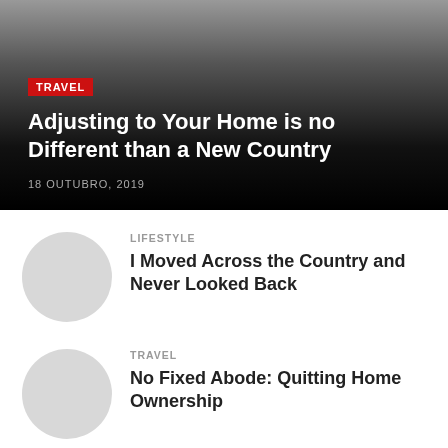[Figure (photo): Hero image with dark gradient overlay background]
TRAVEL
Adjusting to Your Home is no Different than a New Country
18 OUTUBRO, 2019
[Figure (photo): Circular thumbnail placeholder image, light gray]
LIFESTYLE
I Moved Across the Country and Never Looked Back
[Figure (photo): Circular thumbnail placeholder image, light gray]
TRAVEL
No Fixed Abode: Quitting Home Ownership